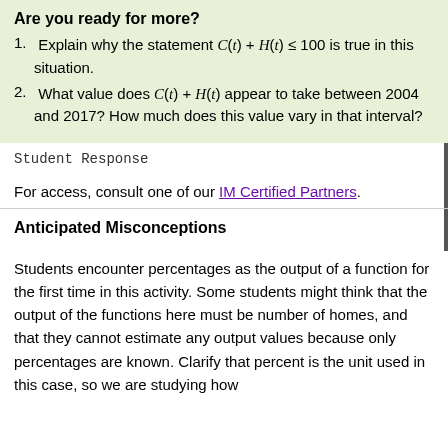Are you ready for more?
Explain why the statement C(t) + H(t) ≤ 100 is true in this situation.
What value does C(t) + H(t) appear to take between 2004 and 2017? How much does this value vary in that interval?
Student Response
For access, consult one of our IM Certified Partners.
Anticipated Misconceptions
Students encounter percentages as the output of a function for the first time in this activity. Some students might think that the output of the functions here must be number of homes, and that they cannot estimate any output values because only percentages are known. Clarify that percent is the unit used in this case, so we are studying how...